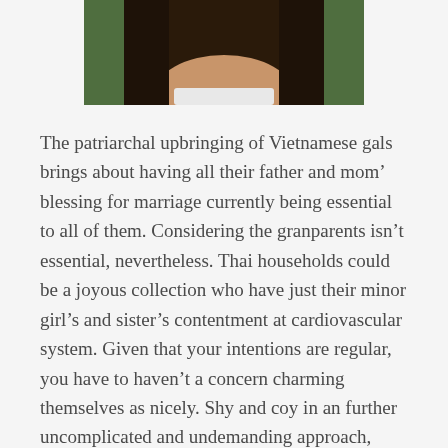[Figure (photo): Cropped photo of a young woman with dark hair, outdoors with green foliage in background. Only the lower portion of the face and hair are visible at the top of the page.]
The patriarchal upbringing of Vietnamese gals brings about having all their father and mom’ blessing for marriage currently being essential to all of them. Considering the granparents isn’t essential, nevertheless. Thai households could be a joyous collection who have just their minor girl’s and sister’s contentment at cardiovascular system. Given that your intentions are regular, you have to haven’t a concern charming themselves as nicely. Shy and coy in an further uncomplicated and undemanding approach, Vietnamese - mail order big event brides can be a bit of